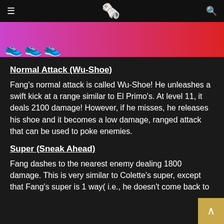≡  [newspaper emoji]  🔍
[Figure (photo): Hero banner image showing cartoon shoe characters against a purple to red gradient background]
Normal Attack (Wu-Shoe)
Fang's normal attack is called Wu-Shoe! He unleashes a swift kick at a range similar to El Primo's. At level 11, it deals 2100 damage! However, if he misses, he releases his shoe and it becomes a low damage, ranged attack that can be used to poke enemies.
Super (Sneak Ahead)
Fang dashes to the nearest enemy dealing 1800 damage. This is very similar to Colette's super, except that Fang's super is 1 way( i.e., he doesn't come back to